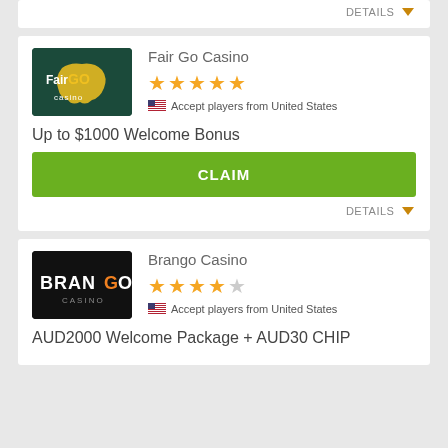DETAILS ▼
Fair Go Casino
[Figure (logo): Fair Go Casino logo - dark green background with FairGO Casino text and Australia map shape in yellow]
★★★★★ (5 stars)
Accept players from United States
Up to $1000 Welcome Bonus
CLAIM
DETAILS ▼
Brango Casino
[Figure (logo): Brango Casino logo - black background with BRANGO text, letters B-R-A-N-G in white, O in orange]
★★★★☆ (4 stars)
Accept players from United States
AUD2000 Welcome Package + AUD30 CHIP